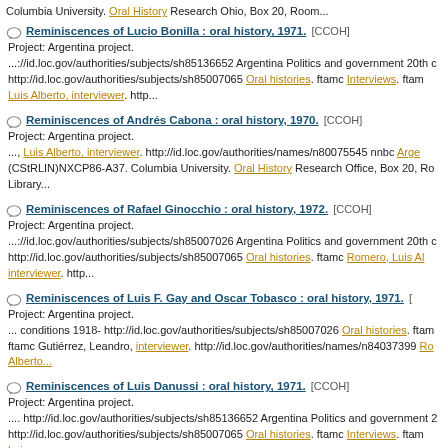Columbia University. Oral History Research Ohio, Box 20, Room...
Reminiscences of Lucio Bonilla : oral history, 1971. [CCOH] Project: Argentina project. ...://id.loc.gov/authorities/subjects/sh85136652 Argentina Politics and government 20th c http://id.loc.gov/authorities/subjects/sh85007065 Oral histories. ftamc Interviews. ftame Luis Alberto, interviewer. http...
Reminiscences of Andrés Cabona : oral history, 1970. [CCOH] Project: Argentina project. ..., Luis Alberto, interviewer. http://id.loc.gov/authorities/names/n80075545 nnbc Arge (CStRLIN)NXCP86-A37. Columbia University. Oral History Research Office, Box 20, Ro Library...
Reminiscences of Rafael Ginocchio : oral history, 1972. [CCOH] Project: Argentina project. ...://id.loc.gov/authorities/subjects/sh85007026 Argentina Politics and government 20th c http://id.loc.gov/authorities/subjects/sh85007065 Oral histories. ftamc Romero, Luis Al interviewer. http...
Reminiscences of Luis F. Gay and Oscar Tobasco : oral history, 1971. Project: Argentina project. ... conditions 1918- http://id.loc.gov/authorities/subjects/sh85007026 Oral histories. ftamc Gutiérrez, Leandro, interviewer. http://id.loc.gov/authorities/names/n84037399 Ro Alberto...
Reminiscences of Luis Danussi : oral history, 1971. [CCOH] Project: Argentina project. .... http://id.loc.gov/authorities/subjects/sh85136652 Argentina Politics and government 2 http://id.loc.gov/authorities/subjects/sh85007065 Oral histories. ftamc Interviews. ftame Luis...
Reminiscences of Mariano Tedesco : oral history, 1972. [CCOH]